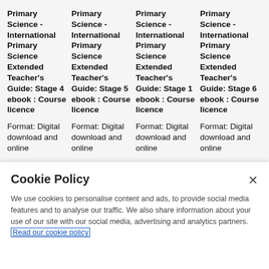Primary Science - International Primary Science Extended Teacher's Guide: Stage 4 ebook : Course licence
Primary Science - International Primary Science Extended Teacher's Guide: Stage 5 ebook : Course licence
Primary Science - International Primary Science Extended Teacher's Guide: Stage 1 ebook : Course licence
Primary Science - International Primary Science Extended Teacher's Guide: Stage 6 ebook : Course licence
Format: Digital download and online
Format: Digital download and online
Format: Digital download and online
Format: Digital download and online
Cookie Policy
We use cookies to personalise content and ads, to provide social media features and to analyse our traffic. We also share information about your use of our site with our social media, advertising and analytics partners. Read our cookie policy